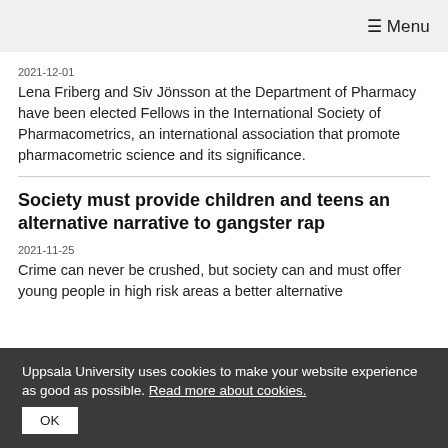≡ Menu
2021-12-01
Lena Friberg and Siv Jönsson at the Department of Pharmacy have been elected Fellows in the International Society of Pharmacometrics, an international association that promote pharmacometric science and its significance.
Society must provide children and teens an alternative narrative to gangster rap
2021-11-25
Crime can never be crushed, but society can and must offer young people in high risk areas a better alternative
Uppsala University uses cookies to make your website experience as good as possible. Read more about cookies.